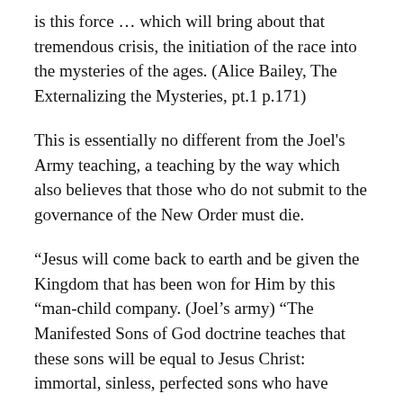is this force … which will bring about that tremendous crisis, the initiation of the race into the mysteries of the ages. (Alice Bailey, The Externalizing the Mysteries, pt.1 p.171)
This is essentially no different from the Joel's Army teaching, a teaching by the way which also believes that those who do not submit to the governance of the New Order must die.
“Jesus will come back to earth and be given the Kingdom that has been won for Him by this “man-child company. (Joel’s army) “The Manifested Sons of God doctrine teaches that these sons will be equal to Jesus Christ: immortal, sinless, perfected sons who have